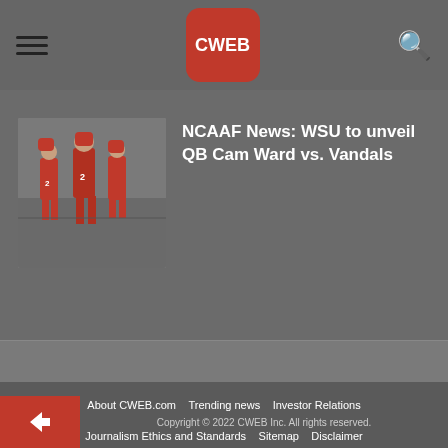CWEB
NCAAF News: WSU to unveil QB Cam Ward vs. Vandals
[Figure (photo): Football players in red uniforms on field]
About CWEB.com | Trending news | Investor Relations | Journalism Ethics and Standards | Sitemap | Disclaimer | Contact Us | Privacy policy | CWEB Content Policy | Terms and Conditions | DMCA | Post a Free Blog on CWEB | Write For Us | Editorial Team Information
Copyright © 2022 CWEB Inc. All rights reserved.